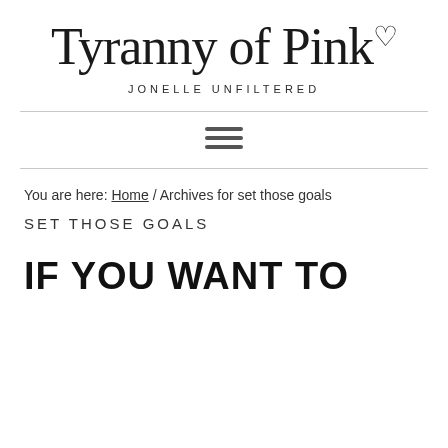Tyranny of Pink♡
JONELLE UNFILTERED
[Figure (other): Hamburger menu icon with three horizontal bars]
You are here: Home / Archives for set those goals
SET THOSE GOALS
IF YOU WANT TO